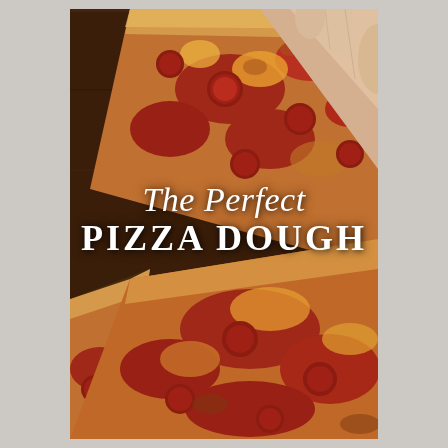[Figure (photo): Close-up photo of pepperoni pizza slices on a wooden board. A hand is picking up one slice from the top right. The pizza has a thick crust with red tomato sauce and melted orange-red cheese. Text overlay reads 'The Perfect PIZZA DOUGH' in white serif font.]
The Perfect PIZZA DOUGH